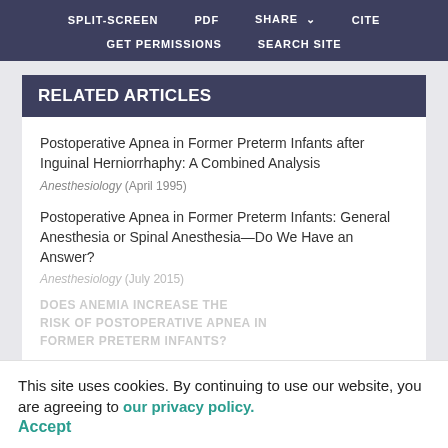SPLIT-SCREEN   PDF   SHARE   CITE   GET PERMISSIONS   SEARCH SITE
RELATED ARTICLES
Postoperative Apnea in Former Preterm Infants after Inguinal Herniorrhaphy: A Combined Analysis
Anesthesiology (April 1995)
Postoperative Apnea in Former Preterm Infants: General Anesthesia or Spinal Anesthesia—Do We Have an Answer?
Anesthesiology (July 2015)
DOES ANEMIA INCREASE THE RISK OF POSTOPERATIVE APNEA IN FORMER PRETERM INFANTS?
This site uses cookies. By continuing to use our website, you are agreeing to our privacy policy. Accept